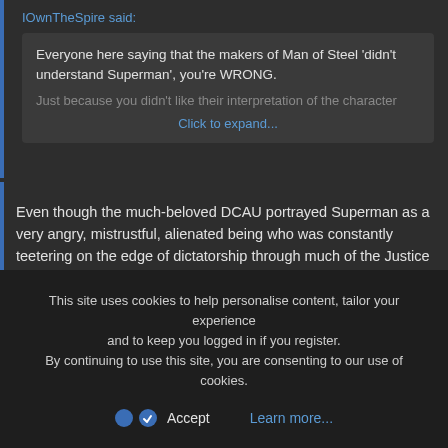IOwnTheSpire said:
Everyone here saying that the makers of Man of Steel 'didn't understand Superman', you're WRONG.
Just because you didn't like their interpretation of the character
Click to expand...
Even though the much-beloved DCAU portrayed Superman as a very angry, mistrustful, alienated being who was constantly teetering on the edge of dictatorship through much of the Justice League series. True, he didn't start that way, and he did get past it eventually, but the Justice Lord Superman cast a shadow over the character that stayed through multiple seasons. He made mistakes. He let Darkseid go free TWICE, and payed DEARLY for it. He tried to lobotomize Doomsday just like his evil counterpart. He was hardly a being of "infinite hope and optimism." Saying crap like that makes it sound like Superman can never have doubts or make mistakes or get angry. He obviously can, and there's nothing
This site uses cookies to help personalise content, tailor your experience and to keep you logged in if you register.
By continuing to use this site, you are consenting to our use of cookies.
Accept
Learn more...